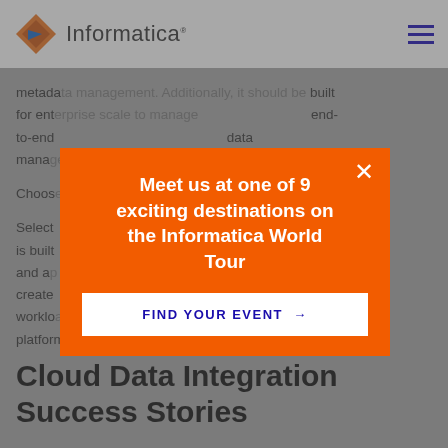Informatica
metadata management. Additionally, it should be built for enterprise scale to manage end-to-end data management.
Choose
Select ... solution is built ... cture and ap ... r to create ... shift worklo ... ake, platform, or ecosystem to another as needed.
[Figure (infographic): Orange modal popup overlay on a greyed-out webpage. Modal reads: 'Meet us at one of 9 exciting destinations on the Informatica World Tour' with a white button 'FIND YOUR EVENT →' and a white X close button.]
Cloud Data Integration Success Stories